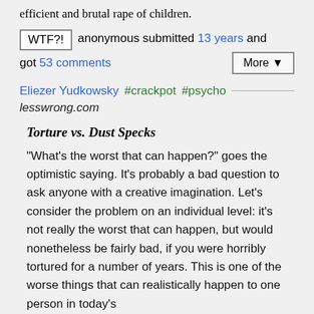efficient and brutal rape of children.
WTF?! anonymous submitted 13 years and got 53 comments  More ▼
Eliezer Yudkowsky #crackpot #psycho
lesswrong.com
Torture vs. Dust Specks
"What's the worst that can happen?" goes the optimistic saying. It's probably a bad question to ask anyone with a creative imagination. Let's consider the problem on an individual level: it's not really the worst that can happen, but would nonetheless be fairly bad, if you were horribly tortured for a number of years. This is one of the worse things that can realistically happen to one person in today's